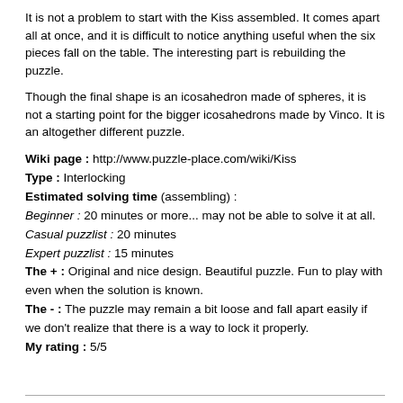It is not a problem to start with the Kiss assembled. It comes apart all at once, and it is difficult to notice anything useful when the six pieces fall on the table. The interesting part is rebuilding the puzzle.
Though the final shape is an icosahedron made of spheres, it is not a starting point for the bigger icosahedrons made by Vinco. It is an altogether different puzzle.
Wiki page : http://www.puzzle-place.com/wiki/Kiss
Type : Interlocking
Estimated solving time (assembling) :
Beginner : 20 minutes or more... may not be able to solve it at all.
Casual puzzlist : 20 minutes
Expert puzzlist : 15 minutes
The + : Original and nice design. Beautiful puzzle. Fun to play with even when the solution is known.
The - : The puzzle may remain a bit loose and fall apart easily if we don't realize that there is a way to lock it properly.
My rating : 5/5